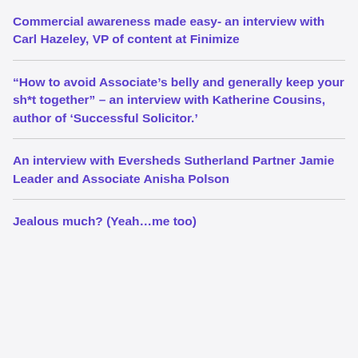Commercial awareness made easy- an interview with Carl Hazeley, VP of content at Finimize
“How to avoid Associate’s belly and generally keep your sh*t together” – an interview with Katherine Cousins, author of ‘Successful Solicitor.’
An interview with Eversheds Sutherland Partner Jamie Leader and Associate Anisha Polson
Jealous much? (Yeah…me too)